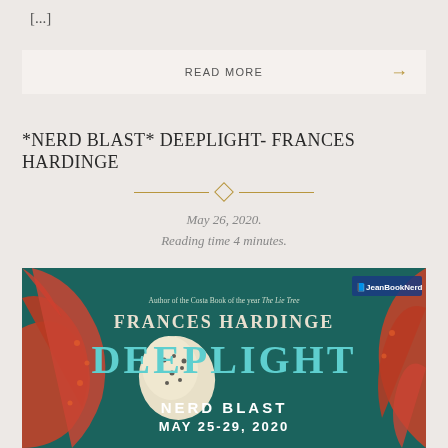[...]
READ MORE →
*NERD BLAST* DEEPLIGHT- FRANCES HARDINGE
May 26, 2020.
Reading time 4 minutes.
[Figure (illustration): Book cover for Deeplight by Frances Hardinge, showing octopus tentacles wrapping around a white spotted heart-shaped object on a dark teal background. Text reads: Author of the Costa Book of the year The Lie Tree, Frances Hardinge, DEEPLIGHT, NERD BLAST, MAY 25-29, 2020. JeanBookNerd logo in top right corner.]